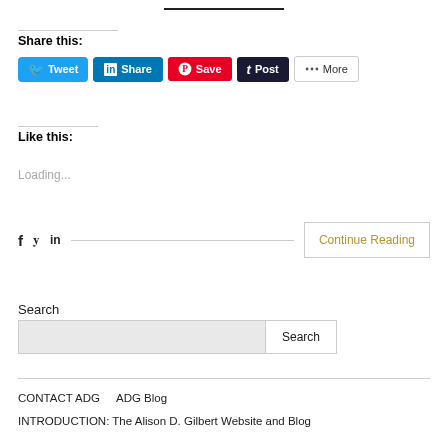Share this:
[Figure (screenshot): Social media share buttons: Tweet (Twitter/blue), Share (LinkedIn/blue), Save (Pinterest/red), Post (Tumblr/dark), More (grey outline)]
Like this:
Loading...
[Figure (screenshot): Social icons (Facebook, Twitter, LinkedIn) with a horizontal rule and a Continue Reading button]
Search
[Figure (screenshot): Search input box with a Search button]
CONTACT ADG    ADG Blog
INTRODUCTION: The Alison D. Gilbert Website and Blog